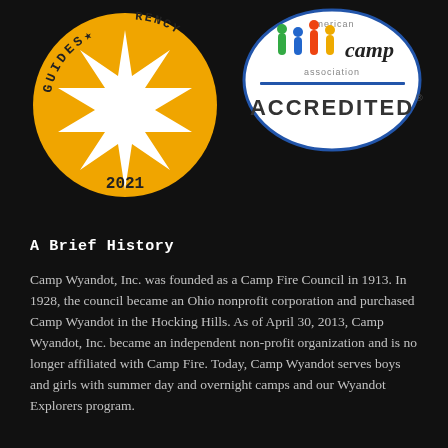[Figure (logo): GuideStar Transparency 2021 gold seal badge (circular gold badge with starburst)]
[Figure (logo): American Camp Association Accredited badge (oval blue and green logo with colorful figures)]
A Brief History
Camp Wyandot, Inc. was founded as a Camp Fire Council in 1913. In 1928, the council became an Ohio nonprofit corporation and purchased Camp Wyandot in the Hocking Hills. As of April 30, 2013, Camp Wyandot, Inc. became an independent non-profit organization and is no longer affiliated with Camp Fire. Today, Camp Wyandot serves boys and girls with summer day and overnight camps and our Wyandot Explorers program.